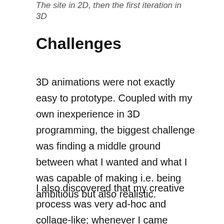The site in 2D, then the first iteration in 3D
Challenges
3D animations were not exactly easy to prototype. Coupled with my own inexperience in 3D programming, the biggest challenge was finding a middle ground between what I wanted and what I was capable of making i.e. being ambitious but also realistic.
I also discovered that my creative process was very ad-hoc and collage-like; whenever I came across something I fancied, I tried to